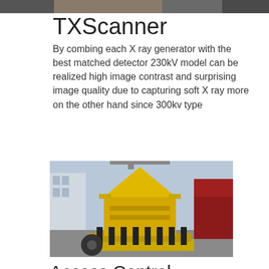[Figure (photo): Partial photo strip at top of page, appears to be industrial/manufacturing scene]
TXScanner
By combing each X ray generator with the best matched detector 230kV model can be realized high image contrast and surprising image quality due to capturing soft X ray more on the other hand since 300kv type
Click to chat
[Figure (photo): Yellow cone crusher industrial machine photographed outdoors in an industrial yard, with buildings and a red truck visible in the background. A person stands in the background.]
Access Control